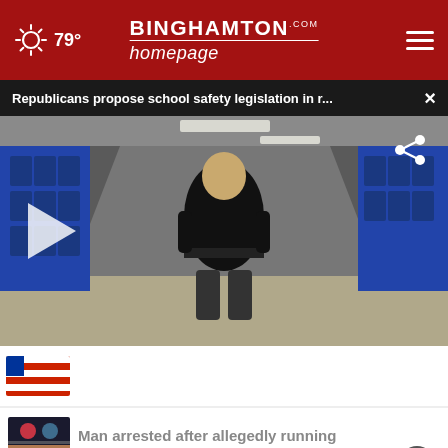79° | BINGHAMTON homepage.com
Republicans propose school safety legislation in r...
[Figure (screenshot): Video still showing a person from behind walking down a school hallway with blue lockers. A play button overlay is visible on the left side and a share icon in the top right.]
[Figure (photo): Small thumbnail image with red and white striped pattern]
[Figure (photo): Small thumbnail showing police lights at night]
Man arrested after allegedly running
[Figure (photo): Small thumbnail showing a road or street scene]
State Street reconstruction...
Shop smarter, not harder with BESTREVIEWS Go Now